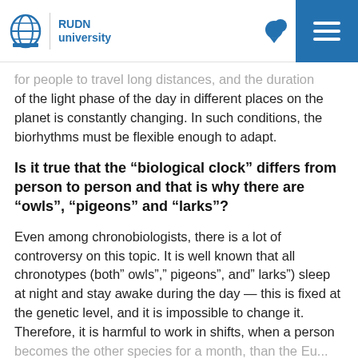RUDN university
for people to travel long distances, and the duration of the light phase of the day in different places on the planet is constantly changing. In such conditions, the biorhythms must be flexible enough to adapt.
Is it true that the “biological clock” differs from person to person and that is why there are “owls”, “pigeons” and “larks”?
Even among chronobiologists, there is a lot of controversy on this topic. It is well known that all chronotypes (both” owls”,” pigeons”, and” larks”) sleep at night and stay awake during the day — this is fixed at the genetic level, and it is impossible to change it. Therefore, it is harmful to work in shifts, when a person becomes the other species for a month, than the Eu...